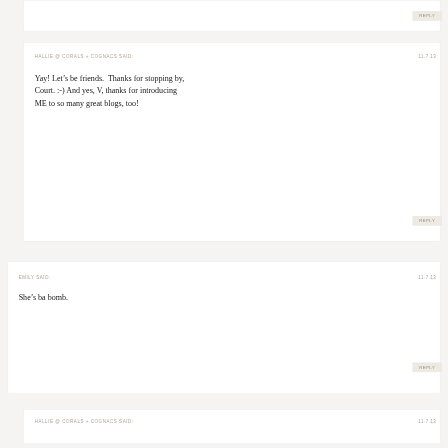REPLY
HALLIE @ CORALS + COGNACS SAID:   11.7.13
Yay! Let’s be friends. Thanks for stopping by, Court. :-) And yes, V, thanks for introducing ME to so many great blogs, too!
REPLY
EMILY SAID:   11.7.13
She’s ba bomb.
REPLY
HALLIE @ CORALS + COGNACS SAID:   11.7.13